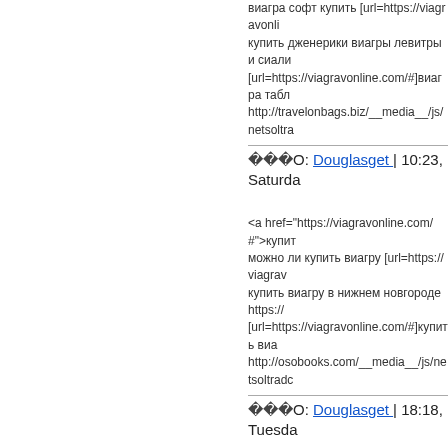виагра софт купить [url=https://viagravonline купить дженерики виагры левитры и сиали [url=https://viagravonline.com/#]виагра табл http://travelonbags.biz/__media__/js/netsoltr
О: Douglasget | 10:23, Saturday
<a href="https://viagravonline.com/#">купит можно ли купить виагру [url=https://viagra купить виагру в нижнем новгороде https://v [url=https://viagravonline.com/#]купить виа http://osobooks.com/__media__/js/netsoltradc
О: Douglasget | 18:18, Tuesday
<a href="https://viagravonline.com/#">купит купить виагру дешево [url=https://viagravon можно купить виагру https://viagravonline.c [url=https://viagravonline.com/#]виагра табл http://vikingur.tv/__media__/js/netsoltradeма
О: Douglasget | 06:52, Saturday
<a href="https://viagravonline.com/#">можн купить виагру в интернет [url=https://viagra роял виагра купить https://viagravonline.con [url=https://viagravonline.com/#]купить виа